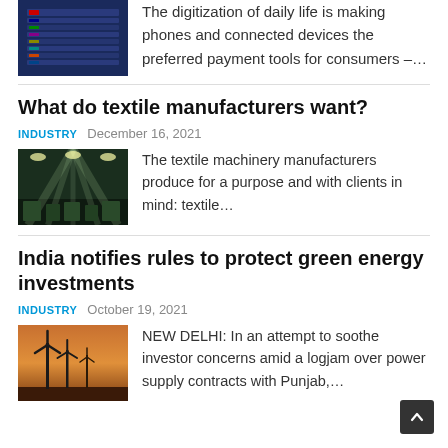[Figure (screenshot): Thumbnail image of a data table/chart on dark blue background]
The digitization of daily life is making phones and connected devices the preferred payment tools for consumers –…
What do textile manufacturers want?
INDUSTRY   December 16, 2021
[Figure (photo): Textile factory interior with green-toned lighting and machinery]
The textile machinery manufacturers produce for a purpose and with clients in mind: textile…
India notifies rules to protect green energy investments
INDUSTRY   October 19, 2021
[Figure (photo): Wind turbines silhouetted against an orange sunset sky]
NEW DELHI: In an attempt to soothe investor concerns amid a logjam over power supply contracts with Punjab,…